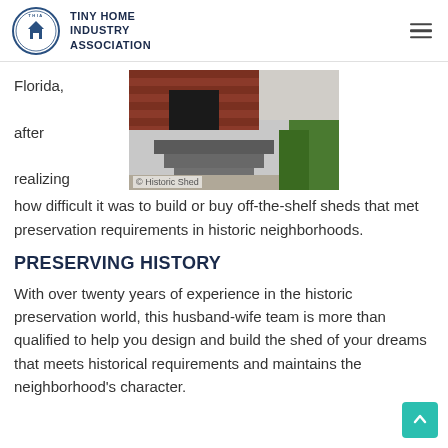TINY HOME INDUSTRY ASSOCIATION
Florida, after realizing how difficult it was to build or buy off-the-shelf sheds that met preservation requirements in historic neighborhoods.
[Figure (photo): Photo of concrete steps leading to a structure, with caption '© Historic Shed']
PRESERVING HISTORY
With over twenty years of experience in the historic preservation world, this husband-wife team is more than qualified to help you design and build the shed of your dreams that meets historical requirements and maintains the neighborhood's character.